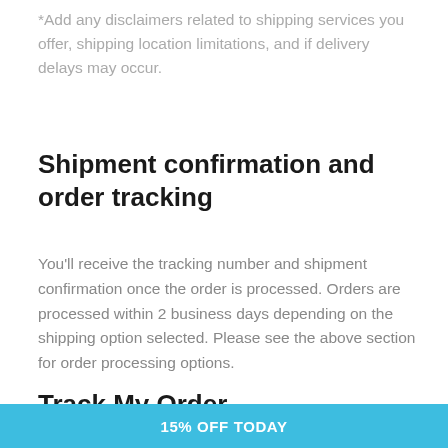*Add any disclaimers related to shipping services you offer, shipping location limitations, and if delivery delays may occur.
Shipment confirmation and order tracking
You'll receive the tracking number and shipment confirmation once the order is processed. Orders are processed within 2 business days depending on the shipping option selected. Please see the above section for order processing options.
Track My Order
15% OFF TODAY